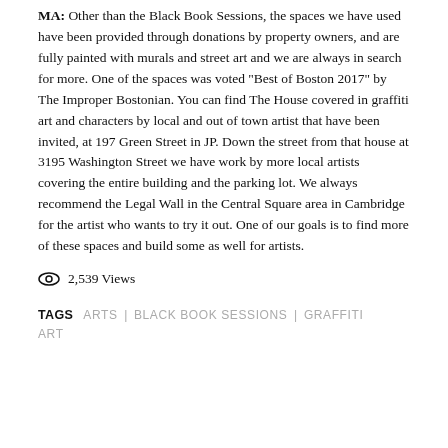MA: Other than the Black Book Sessions, the spaces we have used have been provided through donations by property owners, and are fully painted with murals and street art and we are always in search for more. One of the spaces was voted "Best of Boston 2017" by The Improper Bostonian. You can find The House covered in graffiti art and characters by local and out of town artist that have been invited, at 197 Green Street in JP. Down the street from that house at 3195 Washington Street we have work by more local artists covering the entire building and the parking lot. We always recommend the Legal Wall in the Central Square area in Cambridge for the artist who wants to try it out. One of our goals is to find more of these spaces and build some as well for artists.
2,539 Views
TAGS  ARTS | BLACK BOOK SESSIONS | GRAFFITI ART